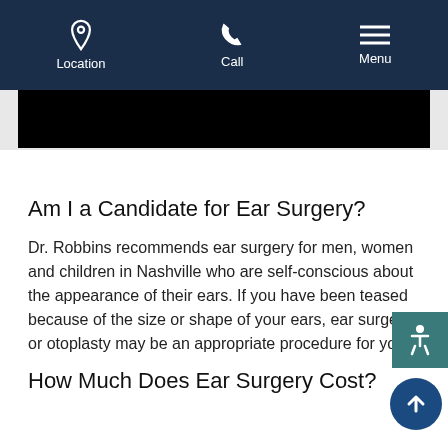Location | Call | Menu
[Figure (screenshot): Black image banner strip]
Am I a Candidate for Ear Surgery?
Dr. Robbins recommends ear surgery for men, women and children in Nashville who are self-conscious about the appearance of their ears. If you have been teased because of the size or shape of your ears, ear surgery or otoplasty may be an appropriate procedure for you.
How Much Does Ear Surgery Cost?